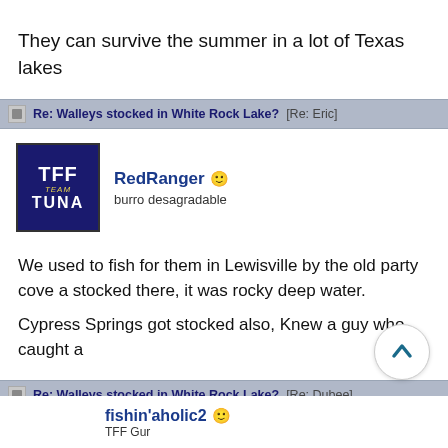They can survive the summer in a lot of Texas lakes
Re: Walleys stocked in White Rock Lake? [Re: Eric]
[Figure (logo): TFF Team Tuna logo - blue background with white TFF text, yellow TEAM italic text, and white TUNA text]
RedRanger
burro desagradable
We used to fish for them in Lewisville by the old party cove a stocked there, it was rocky deep water.

Cypress Springs got stocked also, Knew a guy who caught a
Re: Walleys stocked in White Rock Lake? [Re: Dubee]
fishin'aholic2
TFF Gur